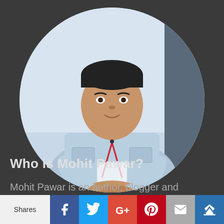[Figure (photo): Circular cropped photo of Mohit Pawar, a man wearing a light blue short-sleeve shirt with a red lanyard/badge, gesturing with clasped hands, speaking at an event]
Who is Mohit Pawar?
Mohit Pawar is an author, blogger and